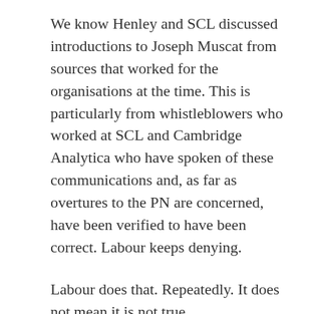We know Henley and SCL discussed introductions to Joseph Muscat from sources that worked for the organisations at the time. This is particularly from whistleblowers who worked at SCL and Cambridge Analytica who have spoken of these communications and, as far as overtures to the PN are concerned, have been verified to have been correct. Labour keeps denying.
Labour does that. Repeatedly. It does not mean it is not true.
The SCL/Cambridge Analytica whistleblowers are eminently credible sources that have blown the lid on some very seriously dangerous and undemocratic activities. Indeed of course what has happened in